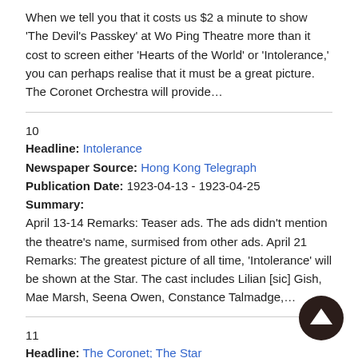When we tell you that it costs us $2 a minute to show 'The Devil's Passkey' at Wo Ping Theatre more than it cost to screen either 'Hearts of the World' or 'Intolerance,' you can perhaps realise that it must be a great picture. The Coronet Orchestra will provide…
10
Headline: Intolerance
Newspaper Source: Hong Kong Telegraph
Publication Date: 1923-04-13 - 1923-04-25
Summary:
April 13-14 Remarks: Teaser ads. The ads didn't mention the theatre's name, surmised from other ads. April 21 Remarks: The greatest picture of all time, 'Intolerance' will be shown at the Star. The cast includes Lilian [sic] Gish, Mae Marsh, Seena Owen, Constance Talmadge,…
11
Headline: The Coronet; The Star
Newspaper Source: Hong Kong Telegraph
Publication Date: 1923-04-23 - 1923-04-24